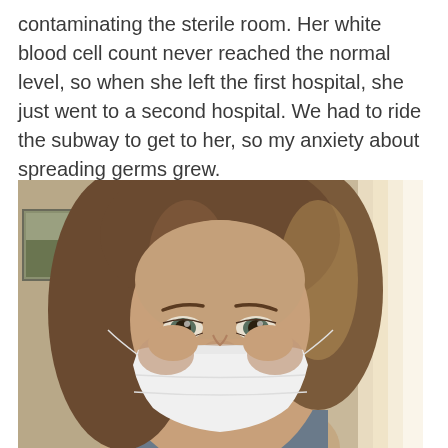contaminating the sterile room. Her white blood cell count never reached the normal level, so when she left the first hospital, she just went to a second hospital. We had to ride the subway to get to her, so my anxiety about spreading germs grew.
[Figure (photo): A woman wearing a white surgical/medical face mask, shown from shoulders up, with brown hair, looking at the camera. Background shows a window with bright light on the right and framed artwork on the left wall.]